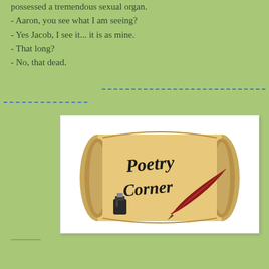possessed a tremendous sexual organ.
- Aaron, you see what I am seeing?
- Yes Jacob, I see it... it is as mine.
- That long?
- No, that dead.
[Figure (illustration): A decorative scroll image with 'Poetry Corner' written in ornate calligraphy script, accompanied by a red quill pen/feather and an ink bottle]
___